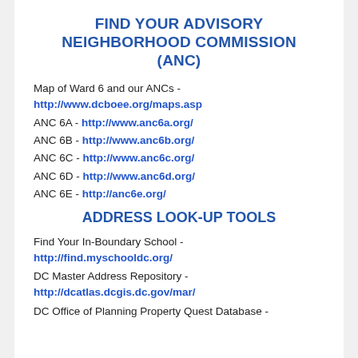FIND YOUR ADVISORY NEIGHBORHOOD COMMISSION (ANC)
Map of Ward 6 and our ANCs -
http://www.dcboee.org/maps.asp
ANC 6A - http://www.anc6a.org/
ANC 6B - http://www.anc6b.org/
ANC 6C - http://www.anc6c.org/
ANC 6D - http://www.anc6d.org/
ANC 6E - http://anc6e.org/
ADDRESS LOOK-UP TOOLS
Find Your In-Boundary School -
http://find.myschooldc.org/
DC Master Address Repository -
http://dcatlas.dcgis.dc.gov/mar/
DC Office of Planning Property Quest Database -